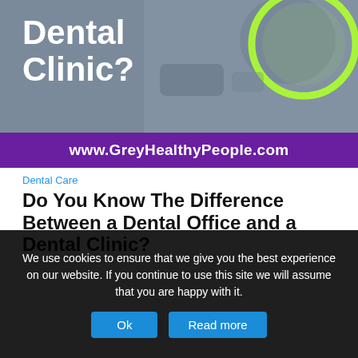[Figure (photo): Dental clinic advertisement banner with text 'Dental Clinic?' overlaid on a photo of dental equipment and a dentist, with a green circular light and purple bar at the bottom showing www.GreyHealthyPeople.com]
Dental Care
Do You Know The Difference Between a Dental Office and a Dental Clinic?
[Figure (photo): Second dental advertisement banner with blue/purple overlay showing dentists and patient, with text 'Why Should You Go' in white italic bold font and green circular light]
We use cookies to ensure that we give you the best experience on our website. If you continue to use this site we will assume that you are happy with it.